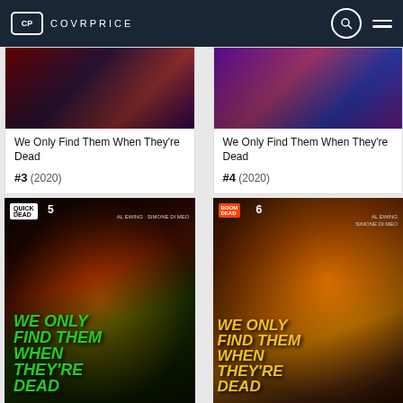COVRPRICE
[Figure (photo): Comic book cover for We Only Find Them When They're Dead #3 (2020), dark red and purple tones]
We Only Find Them When They're Dead
#3 (2020)
[Figure (photo): Comic book cover for We Only Find Them When They're Dead #4 (2020), purple and pink tones]
We Only Find Them When They're Dead
#4 (2020)
[Figure (photo): Comic book cover for We Only Find Them When They're Dead #5, dark red and green tones with large stylized text]
[Figure (photo): Comic book cover for We Only Find Them When They're Dead #6, warm orange and yellow tones with large stylized text]